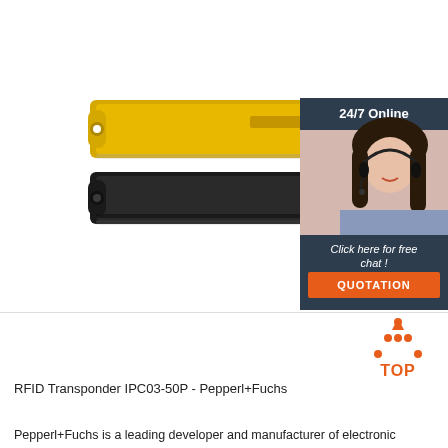[Figure (photo): Two RFID transponders IPC03-50P by Pepperl+Fuchs — one yellow and one black, elongated bar shape with a mounting hole at one end, shown on white background. Alongside is a customer service chat widget with a woman wearing a headset, labeled '24/7 Online', with 'Click here for free chat!' and an orange QUOTATION button.]
[Figure (illustration): Orange TOP icon — a triangle made of orange dots above the text 'TOP' in orange]
RFID Transponder IPC03-50P - Pepperl+Fuchs
Pepperl+Fuchs is a leading developer and manufacturer of electronic components for the global automation market.